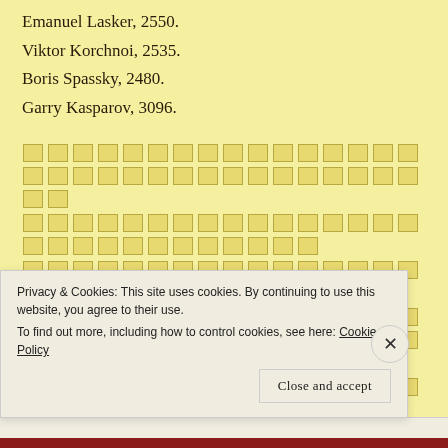Emanuel Lasker, 2550.
Viktor Korchnoi, 2535.
Boris Spassky, 2480.
Garry Kasparov, 3096.
[redacted text block — multiple lines of obscured/redacted content]
Privacy & Cookies: This site uses cookies. By continuing to use this website, you agree to their use.
To find out more, including how to control cookies, see here: Cookie Policy
Close and accept